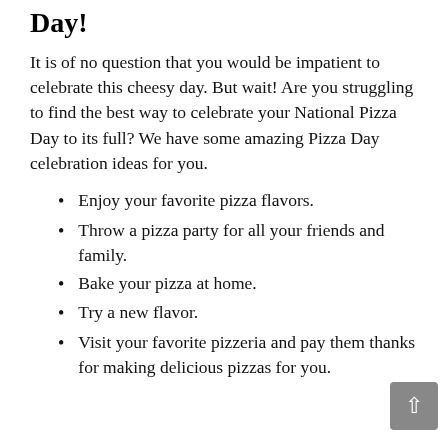Day!
It is of no question that you would be impatient to celebrate this cheesy day. But wait! Are you struggling to find the best way to celebrate your National Pizza Day to its full? We have some amazing Pizza Day celebration ideas for you.
Enjoy your favorite pizza flavors.
Throw a pizza party for all your friends and family.
Bake your pizza at home.
Try a new flavor.
Visit your favorite pizzeria and pay them thanks for making delicious pizzas for you.